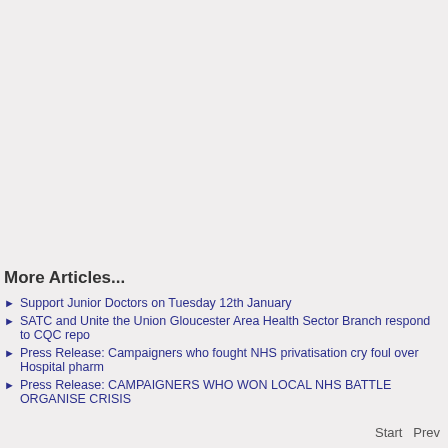More Articles...
Support Junior Doctors on Tuesday 12th January
SATC and Unite the Union Gloucester Area Health Sector Branch respond to CQC repo
Press Release: Campaigners who fought NHS privatisation cry foul over Hospital pharm
Press Release: CAMPAIGNERS WHO WON LOCAL NHS BATTLE ORGANISE CRISIS
Start  Prev